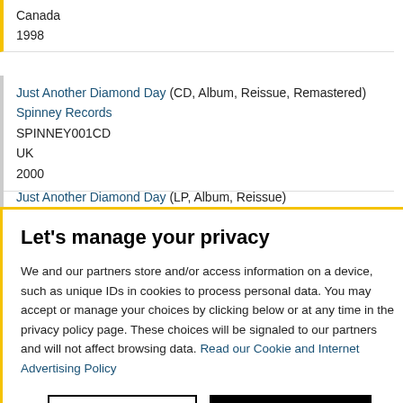Canada
1998
Just Another Diamond Day (CD, Album, Reissue, Remastered)
Spinney Records
SPINNEY001CD
UK
2000
Just Another Diamond Day (LP, Album, Reissue)
Spinney Records
Let's manage your privacy
We and our partners store and/or access information on a device, such as unique IDs in cookies to process personal data. You may accept or manage your choices by clicking below or at any time in the privacy policy page. These choices will be signaled to our partners and will not affect browsing data. Read our Cookie and Internet Advertising Policy
Cookies Settings | Accept All Cookies